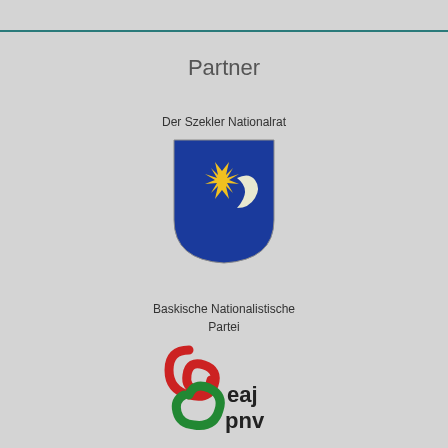Partner
Der Szekler Nationalrat
[Figure (logo): Szekler Nationalrat coat of arms - blue shield with yellow eight-pointed star and white crescent moon]
Baskische Nationalistische Partei
[Figure (logo): EAJ PNV - Basque Nationalist Party logo with red and green swirl and text 'eaj pnv']